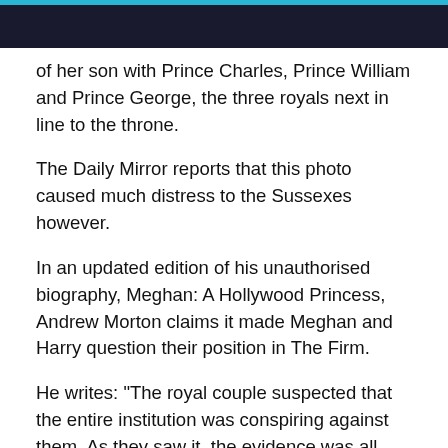of her son with Prince Charles, Prince William and Prince George, the three royals next in line to the throne.
The Daily Mirror reports that this photo caused much distress to the Sussexes however.
In an updated edition of his unauthorised biography, Meghan: A Hollywood Princess, Andrew Morton claims it made Meghan and Harry question their position in The Firm.
He writes: "The royal couple suspected that the entire institution was conspiring against them. As they saw it, the evidence was all around them.